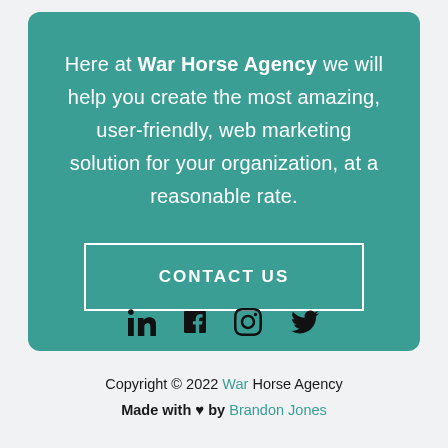Here at War Horse Agency we will help you create the most amazing, user-friendly, web marketing solution for your organization, at a reasonable rate.
CONTACT US
[Figure (infographic): Social media icons row: LinkedIn, Facebook, Instagram, Twitter]
Copyright © 2022 War Horse Agency
Made with ♥ by Brandon Jones